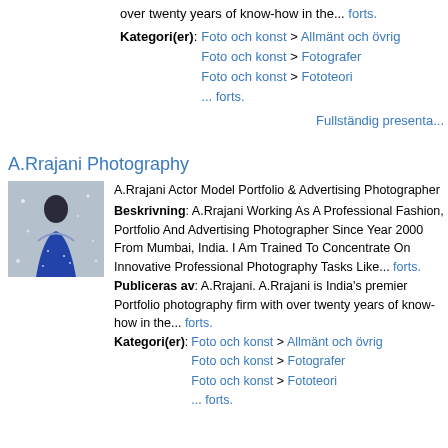over twenty years of know-how in the... forts.
Kategori(er): Foto och konst > Allmänt och övrigt
Foto och konst > Fotografer
Foto och konst > Fototeori
... forts.
Fullständig presenta...
A.Rrajani Photography
[Figure (photo): Portrait photo of a female model in ornate blue and silver costume against sparkly background]
A.Rrajani Actor Model Portfolio & Advertising Photographer
Beskrivning: A.Rrajani Working As A Professional Fashion, Portfolio And Advertising Photographer Since Year 2000 From Mumbai, India. I Am Trained To Concentrate On Innovative Professional Photography Tasks Like... forts.
Publiceras av: A.Rrajani. A.Rrajani is India's premier Portfolio photography firm with over twenty years of know-how in the... forts.
Kategori(er): Foto och konst > Allmänt och övrigt
Foto och konst > Fotografer
Foto och konst > Fototeori
... forts.